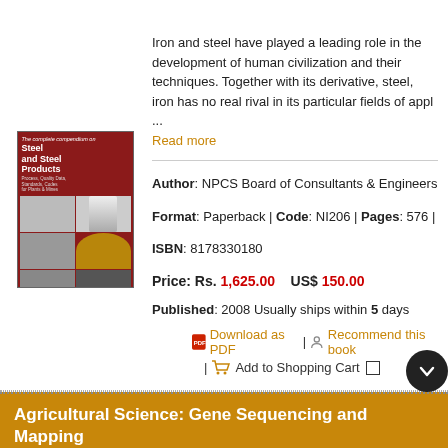Iron and steel have played a leading role in the development of human civilization and their techniques. Together with its derivative, steel, iron has no real rival in its particular fields of appl ... Read more
[Figure (illustration): Book cover of 'Steel and Steel Products' with red background and grid of material photos]
Author: NPCS Board of Consultants & Engineers
Format: Paperback | Code: NI206 | Pages: 576 |
ISBN: 8178330180
Price: Rs. 1,625.00   US$ 150.00
Published: 2008 Usually ships within 5 days
Download as PDF | Recommend this book | Add to Shopping Cart
Agricultural Science: Gene Sequencing and Mapping
The book is a continuation...